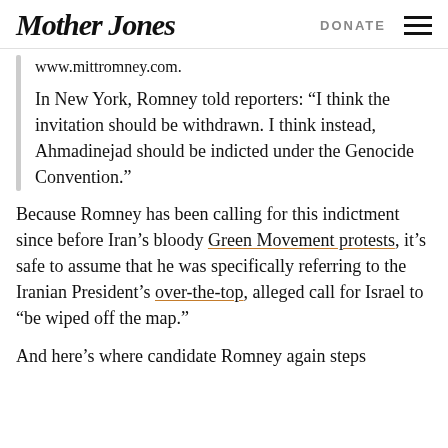Mother Jones | DONATE
www.mittromney.com.
In New York, Romney told reporters: “I think the invitation should be withdrawn. I think instead, Ahmadinejad should be indicted under the Genocide Convention.”
Because Romney has been calling for this indictment since before Iran’s bloody Green Movement protests, it’s safe to assume that he was specifically referring to the Iranian President’s over-the-top, alleged call for Israel to “be wiped off the map.”
And here’s where candidate Romney again steps